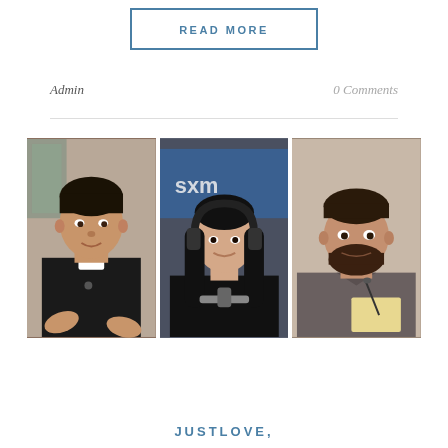READ MORE
Admin
0 Comments
[Figure (photo): Three photos side by side: a Catholic priest in black clerical collar gesturing with hands, a woman with headphones at a radio studio (SXM logo visible), and a bearded man smiling holding a pen and notepad.]
JUSTLOVE,